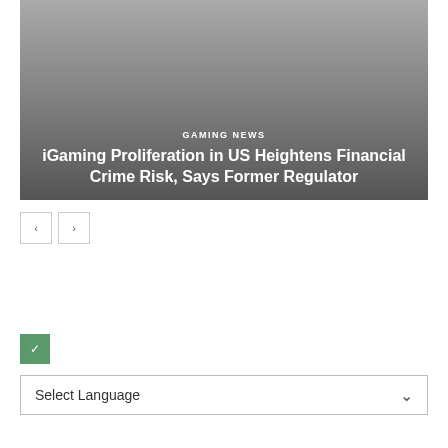[Figure (photo): Hero image with dark gradient overlay showing category label 'GAMING NEWS' and headline title about iGaming proliferation]
iGaming Proliferation in US Heightens Financial Crime Risk, Says Former Regulator
[Figure (other): Previous and next navigation arrow buttons]
[Figure (other): Small green square icon with checkmark]
Select Language